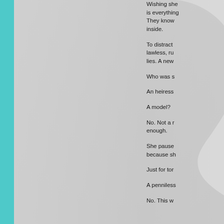[Figure (illustration): A partial silhouette of a person's head and shoulders against a light grey background, with a teal vertical bar on the far left edge of the page.]
Wishing she is everything They know inside. To distract lawless, ru lies. A new Who was s An heiress A model? No. Not a r enough. She pause because sh Just for tor A penniless No. This w